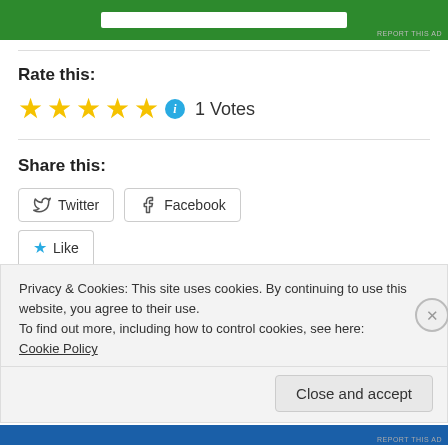[Figure (other): Green advertisement banner with white element and 'REPORT THIS AD' text]
Rate this:
[Figure (other): Five gold stars rating with blue info icon and '1 Votes' text]
Share this:
Twitter  Facebook
Like
Privacy & Cookies: This site uses cookies. By continuing to use this website, you agree to their use.
To find out more, including how to control cookies, see here: Cookie Policy
Close and accept